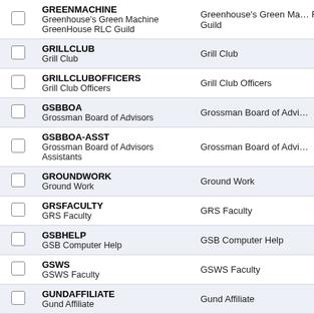|  | List Name / Description | Display Name |
| --- | --- | --- |
| ☐ | GREENMACHINE
Greenhouse's Green Machine GreenHouse RLC Guild | Greenhouse's Green Machine GreenHouse RLC Guild |
| ☐ | GRILLCLUB
Grill Club | Grill Club |
| ☐ | GRILLCLUBOFFICERS
Grill Club Officers | Grill Club Officers |
| ☐ | GSBBOA
Grossman Board of Advisors | Grossman Board of Advisors |
| ☐ | GSBBOA-ASST
Grossman Board of Advisors Assistants | Grossman Board of Advisors Assistants |
| ☐ | GROUNDWORK
Ground Work | Ground Work |
| ☐ | GRSFACULTY
GRS Faculty | GRS Faculty |
| ☐ | GSBHELP
GSB Computer Help | GSB Computer Help |
| ☐ | GSWS
GSWS Faculty | GSWS Faculty |
| ☐ | GUNDAFFILIATE
Gund Affiliate | Gund Affiliate |
| ☐ | GLOBALAFFILIATES
Gund Global Affiliates | Gund Global Affiliates |
| ☐ | GROWINGVERMONT
Growing Vermont... | Owner- Quiet: |